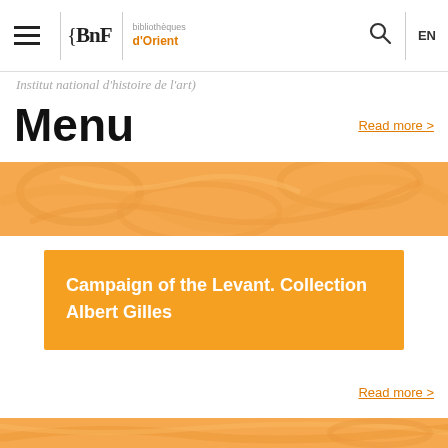BnF | d'Orient | (search) | EN
Institut national d'histoire de l'art)
Menu
Read more >
[Figure (illustration): Orange-tinted decorative banner image with swirling artistic motifs]
Campaign of the Levant. Collection Albert Gilles
Read more >
[Figure (photo): Orange-tinted decorative bottom banner image]